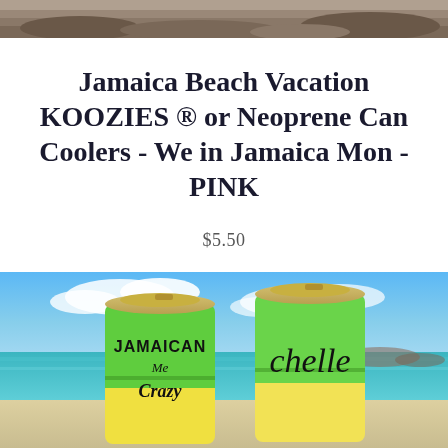[Figure (photo): Top portion of a rocky/stone beach or shoreline photo, cropped at the top of the page]
Jamaica Beach Vacation KOOZIES ® or Neoprene Can Coolers - We in Jamaica Mon - PINK
$5.50
[Figure (photo): Two green and yellow neoprene can koozies on a beach with blue ocean and sky in the background. Left koozie reads 'JAMAICAN Me Crazy' and right koozie shows a cursive name 'chelle']